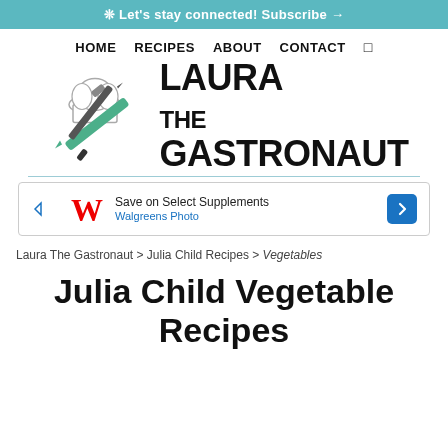❊ Let's stay connected! Subscribe →
HOME   RECIPES   ABOUT   CONTACT
[Figure (logo): Laura The Gastronaut logo with chef hat and crossed knives illustration next to the text LAURA THE GASTRONAUT]
Laura The Gastronaut > Julia Child Recipes > Vegetables
Julia Child Vegetable Recipes